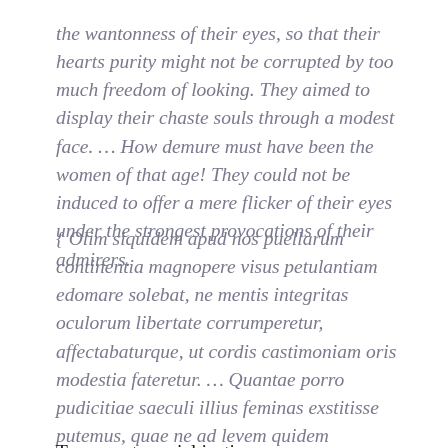the wantonness of their eyes, so that their hearts purity might not be corrupted by too much freedom of looking. They aimed to display their chaste souls through a modest face. … How demure must have been the women of that age! They could not be induced to offer a mere flicker of their eyes under the strongest provocations of their admirers.
{ Olim siquidem apud nos puellarum continentia magnopere visus petulantiam edomare solebat, ne mentis integritas oculorum libertate corrumperetur, affectabaturque, ut cordis castimoniam oris modestia fateretur. … Quantae porro pudicitiae saeculi illius feminas exstitisse putemus, quae ne ad levem quidem oculorum motum maximis amatorum irritamentis adduci potuerunt? }
To promote social justice, young women today